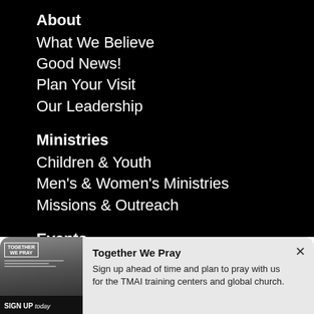About
What We Believe
Good News!
Plan Your Visit
Our Leadership
Ministries
Children & Youth
Men's & Women's Ministries
Missions & Outreach
Events
Sermons
Give
[Figure (screenshot): Together We Pray promotional image with sign up today text]
Together We Pray
Sign up ahead of time and plan to pray with us for the TMAI training centers and global church.